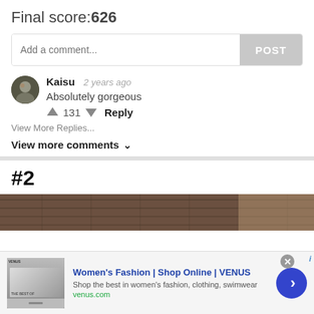Final score:626
Add a comment...
POST
Kaisu  2 years ago
Absolutely gorgeous
▲ 131 ▼  Reply
View More Replies...
View more comments ∨
#2
[Figure (photo): Partial photo showing a wooden ceiling interior, dark brown tones]
[Figure (screenshot): Ad banner: Women's Fashion | Shop Online | VENUS. Shop the best in women's fashion, clothing, swimwear. venus.com]